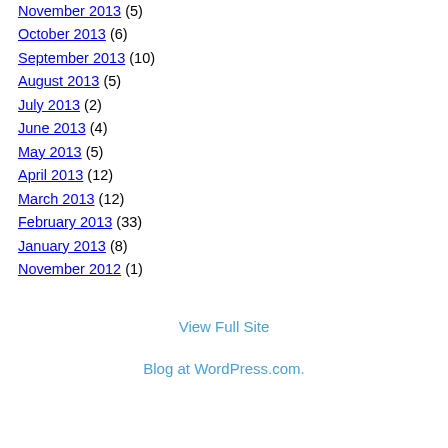November 2013 (5)
October 2013 (6)
September 2013 (10)
August 2013 (5)
July 2013 (2)
June 2013 (4)
May 2013 (5)
April 2013 (12)
March 2013 (12)
February 2013 (33)
January 2013 (8)
November 2012 (1)
View Full Site
Blog at WordPress.com.